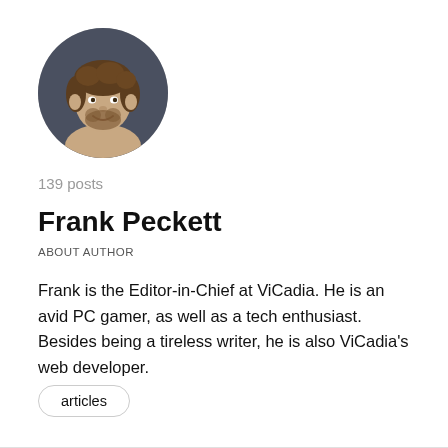[Figure (photo): Circular profile photo of Frank Peckett, a man with curly brown hair and a beard, smiling, dark background]
139 posts
Frank Peckett
ABOUT AUTHOR
Frank is the Editor-in-Chief at ViCadia. He is an avid PC gamer, as well as a tech enthusiast. Besides being a tireless writer, he is also ViCadia’s web developer.
articles